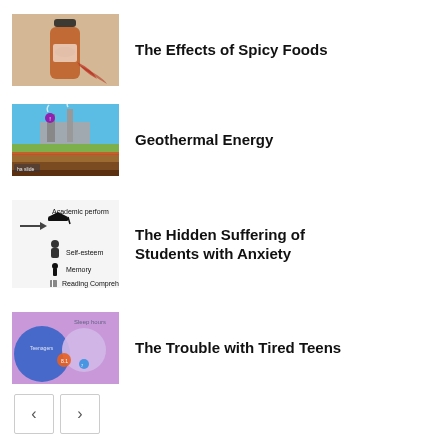The Effects of Spicy Foods
Geothermal Energy
The Hidden Suffering of Students with Anxiety
The Trouble with Tired Teens